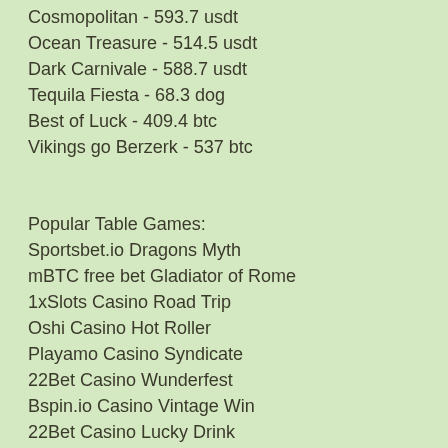Cosmopolitan - 593.7 usdt
Ocean Treasure - 514.5 usdt
Dark Carnivale - 588.7 usdt
Tequila Fiesta - 68.3 dog
Best of Luck - 409.4 btc
Vikings go Berzerk - 537 btc
Popular Table Games:
Sportsbet.io Dragons Myth
mBTC free bet Gladiator of Rome
1xSlots Casino Road Trip
Oshi Casino Hot Roller
Playamo Casino Syndicate
22Bet Casino Wunderfest
Bspin.io Casino Vintage Win
22Bet Casino Lucky Drink
Vegas Crest Casino Starmania
Vegas Crest Casino Slot-o-Pol Deluxe
22Bet Casino Sweet Life
FortuneJack Casino Super Lady Luck